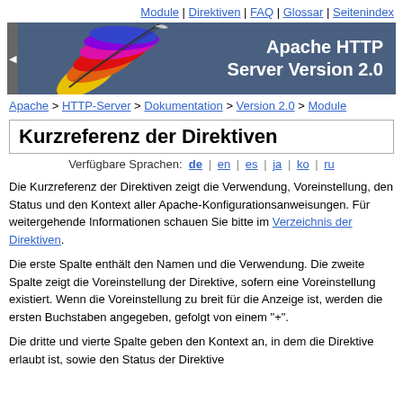Module | Direktiven | FAQ | Glossar | Seitenindex
[Figure (illustration): Apache HTTP Server feather logo on dark blue-grey banner background with text 'Apache HTTP Server Version 2.0']
Apache > HTTP-Server > Dokumentation > Version 2.0 > Module
Kurzreferenz der Direktiven
Verfügbare Sprachen: de | en | es | ja | ko | ru
Die Kurzreferenz der Direktiven zeigt die Verwendung, Voreinstellung, den Status und den Kontext aller Apache-Konfigurationsanweisungen. Für weitergehende Informationen schauen Sie bitte im Verzeichnis der Direktiven.
Die erste Spalte enthält den Namen und die Verwendung. Die zweite Spalte zeigt die Voreinstellung der Direktive, sofern eine Voreinstellung existiert. Wenn die Voreinstellung zu breit für die Anzeige ist, werden die ersten Buchstaben angegeben, gefolgt von einem "+".
Die dritte und vierte Spalte geben den Kontext an, in dem die Direktive erlaubt ist, sowie den Status der Direktive